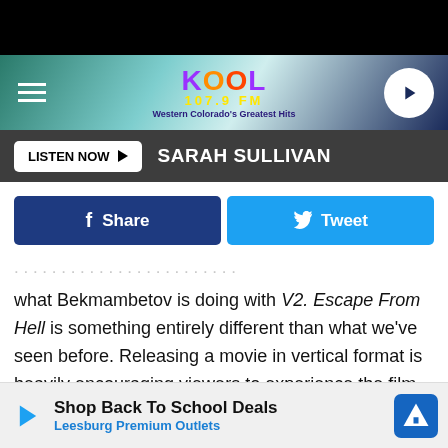[Figure (screenshot): Black top bar]
KOOL 107.9 FM - Western Colorado's Greatest Hits
LISTEN NOW ▶ SARAH SULLIVAN
Share  Tweet
what Bekmambetov is doing with V2. Escape From Hell is something entirely different than what we've seen before. Releasing a movie in vertical format is heavily encouraging viewers to experience the film on their phones.
Bekmambetov is no stranger to vertical storytelling — he helmed ... of Night ...
Shop Back To School Deals
Leesburg Premium Outlets